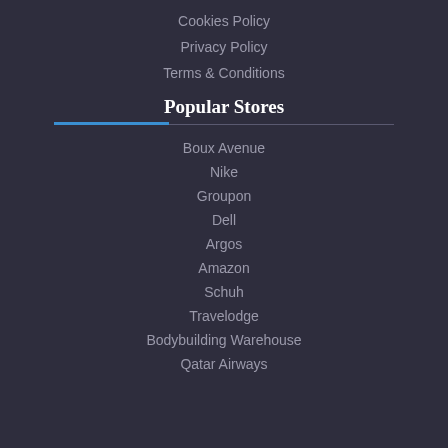Cookies Policy
Privacy Policy
Terms & Conditions
Popular Stores
Boux Avenue
Nike
Groupon
Dell
Argos
Amazon
Schuh
Travelodge
Bodybuilding Warehouse
Qatar Airways